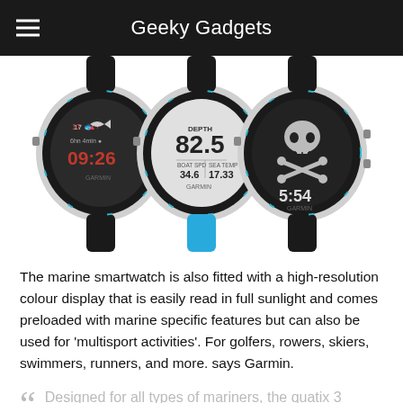Geeky Gadgets
[Figure (photo): Three Garmin quatix 3 marine smartwatches side by side showing different watch face displays: left shows fishing/time display with 09:26, center shows diving depth 82.5 with boat speed 34.6 and sea temp 17.33 and has a blue band, right shows skull and crossbones with time 5:54]
The marine smartwatch is also fitted with a high-resolution colour display that is easily read in full sunlight and comes preloaded with marine specific features but can also be used for 'multisport activities'. For golfers, rowers, skiers, swimmers, runners, and more. says Garmin.
Designed for all types of mariners, the quatix 3 boasts a full navigational and marine toolset. It acts